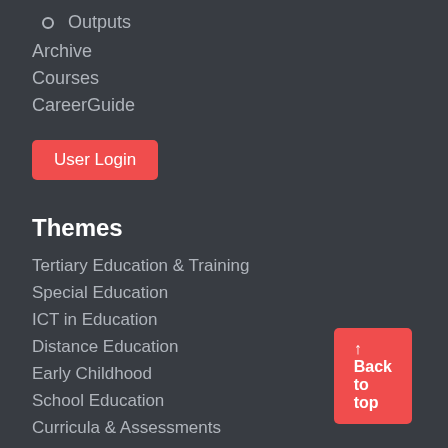Outputs
Archive
Courses
CareerGuide
User Login
Themes
Tertiary Education & Training
Special Education
ICT in Education
Distance Education
Early Childhood
School Education
Curricula & Assessments
Teachers
Social
↑ Back to top